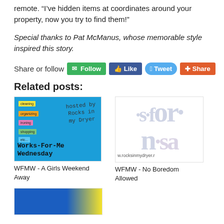remote. “I've hidden items at coordinates around your property, now you try to find them!”
Special thanks to Pat McManus, whose memorable style inspired this story.
Share or follow  [Follow] [Like] [Tweet] [Share]
Related posts:
[Figure (photo): Works-For-Me Wednesday blog thumbnail with blue background, sticky notes labeled cleaning, organizing, ironing, shopping, etc., and handwritten text 'Rocks in my Dryer', 'Works-For-Me Wednesday']
WFMW - A Girls Weekend Away
[Figure (screenshot): Rocks in My Dryer website logo/screenshot showing large stylized letters 's.for n.sa' and URL w.rocksinmydryer.r]
WFMW - No Boredom Allowed
[Figure (photo): Partial thumbnail image with blue and yellow background]